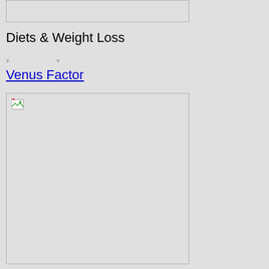[Figure (other): Empty/broken image box at top of page]
Diets & Weight Loss
breadcrumb navigation text (faint)
Venus Factor
[Figure (other): Broken/loading image placeholder]